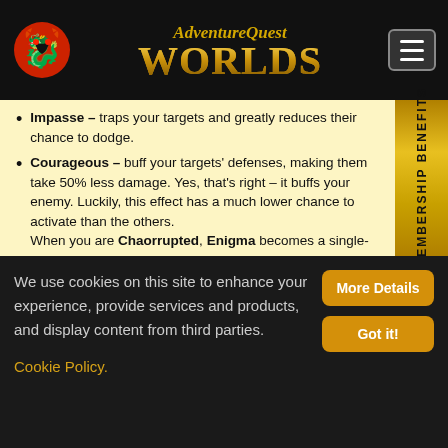AdventureQuest Worlds
Impasse - traps your targets and greatly reduces their chance to dodge.
Courageous - buff your targets' defenses, making them take 50% less damage. Yes, that's right – it buffs your enemy. Luckily, this effect has a much lower chance to activate than the others. When you are Chaorrupted, Enigma becomes a single-target ability.
Rank 3: Surge
[Figure (illustration): Dark rounded square button icon with a shield symbol in grey/silver tones]
We use cookies on this site to enhance your experience, provide services and products, and display content from third parties. Cookie Policy.